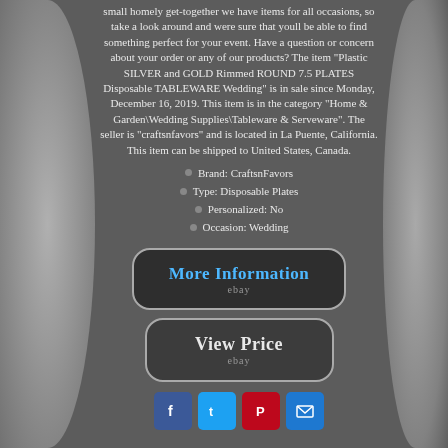small homely get-together we have items for all occasions, so take a look around and were sure that youll be able to find something perfect for your event. Have a question or concern about your order or any of our products? The item "Plastic SILVER and GOLD Rimmed ROUND 7.5 PLATES Disposable TABLEWARE Wedding" is in sale since Monday, December 16, 2019. This item is in the category "Home & Garden\Wedding Supplies\Tableware & Serveware". The seller is "craftsnfavors" and is located in La Puente, California. This item can be shipped to United States, Canada.
Brand: CraftsnFavors
Type: Disposable Plates
Personalized: No
Occasion: Wedding
[Figure (other): Blue rounded rectangle button with text 'More Information' and 'ebay' label]
[Figure (other): Grey rounded rectangle button with text 'View Price' and 'ebay' label]
[Figure (other): Social media share icons: Facebook, Twitter, Pinterest, Email]